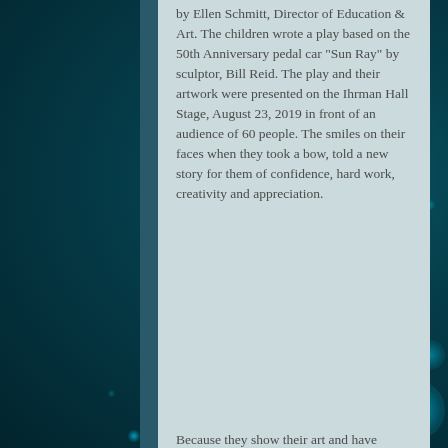Art. The children wrote a play based on the 50th Anniversary pedal car "Sun Ray" by sculptor, Bill Reid. The play and their artwork were presented on the Ihrman Hall Stage, August 23, 2019 in front of an audience of 60 people. The smiles on their faces when they took a bow, told a new story for them of confidence, hard work, creativity and appreciation.
[Figure (illustration): Dark teal/blue bokeh background with glowing cyan light spots and circular bokeh elements on right side]
bottom partial text (cut off at page bottom)